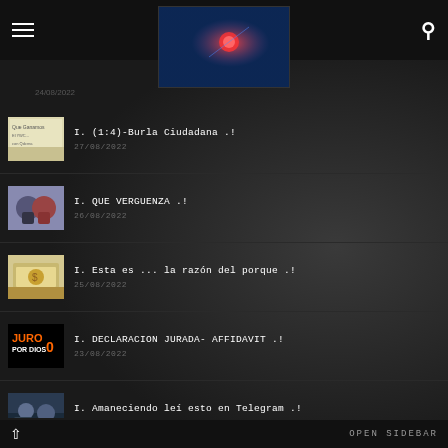[Figure (screenshot): Website header with hamburger menu, centered tech hero image showing person touching glowing interface, and search icon]
I. (1:4)-Burla Ciudadana .!
27/08/2022
I. QUE VERGUENZA .!
26/08/2022
I. Esta es ... la razón del porque .!
25/08/2022
I. DECLARACION JURADA- AFFIDAVIT .!
23/08/2022
I. Amaneciendo leí esto en Telegram .!
22/08/2022
OPEN SIDEBAR